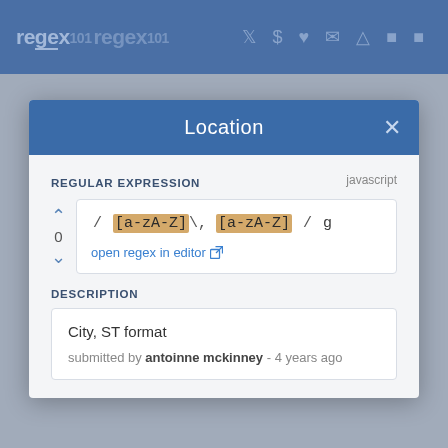regex101
Location
REGULAR EXPRESSION  javascript
/ [a-zA-Z]\, [a-zA-Z] / g
open regex in editor
DESCRIPTION
City, ST format
submitted by antoinne mckinney - 4 years ago